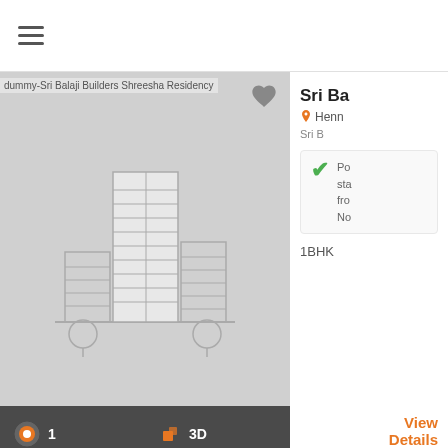≡ (hamburger menu)
[Figure (screenshot): Placeholder image for Sri Balaji Builders Shreesha Residency property listing showing a grey building illustration with trees, heart/favorite icon, and photo/3D badges]
Sri Ba...
Henn...
Sri B...
Possession started from No...
1BHK ...
View Details
[Figure (screenshot): Partial placeholder image for Bairavi Ananda Bairavi property listing showing building elevation with heart icon]
Bairav...
Henn...
Bai...